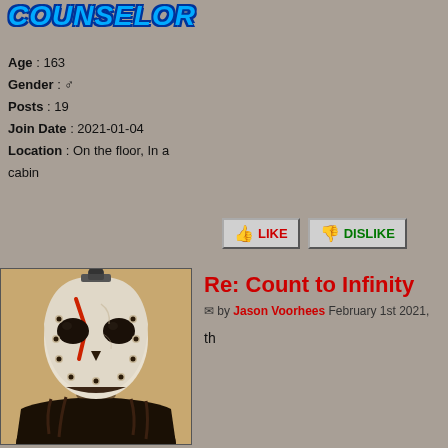[Figure (illustration): COUNSELOR rank badge text in blue bold italic Impact font with dark outline]
Age : 163
Gender : ♂
Posts : 19
Join Date : 2021-01-04
Location : On the floor, In a cabin
[Figure (illustration): PROFILE text in green bold italic Impact font with dark outline]
[Figure (illustration): LIKE and DISLIKE buttons with thumbs up/down icons]
Re: Count to Infinity
by Jason Voorhees February 1st 2021,
th
[Figure (photo): Jason Voorhees action figure with hockey mask, posed against light background]
Jason Voorhees